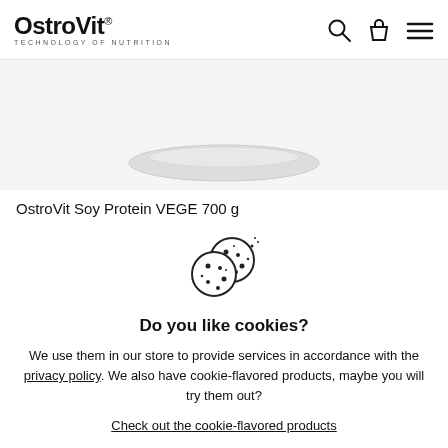OstroVit® TECHNOLOGY OF NUTRITION
[Figure (photo): Product image area showing a white plate/lid at the bottom of a light gray background]
OstroVit Soy Protein VEGE 700 g
[Figure (illustration): Cookie icon illustration showing two overlapping cookies with chocolate chips and dots]
Do you like cookies?
We use them in our store to provide services in accordance with the privacy policy. We also have cookie-flavored products, maybe you will try them out?
Check out the cookie-flavored products
Close